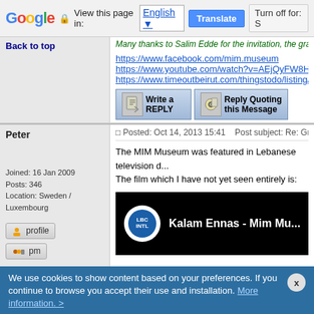Google | View this page in: English | Translate | Turn off for: S
Many thanks to Salim Edde for the invitation, the grand opening whi...
https://www.facebook.com/mim.museum
https://www.youtube.com/watch?v=AEjQyFW8H6w
https://www.timeoutbeirut.com/thingstodo/listing/3398/mi...
Back to top
Write a REPLY | Reply Quoting this Message
Posted: Oct 14, 2013 15:41    Post subject: Re: Grand Opening of the M
Peter
Joined: 16 Jan 2009
Posts: 346
Location: Sweden / Luxembourg
profile
pm
The MIM Museum was featured in Lebanese television d...
The film which I have not yet seen entirely is:
[Figure (screenshot): YouTube video thumbnail showing LBC International logo and title 'Kalam Ennas - Mim Mu...' on black background]
We use cookies to show content based on your preferences. If you continue to browse you accept their use and installation. More information. >